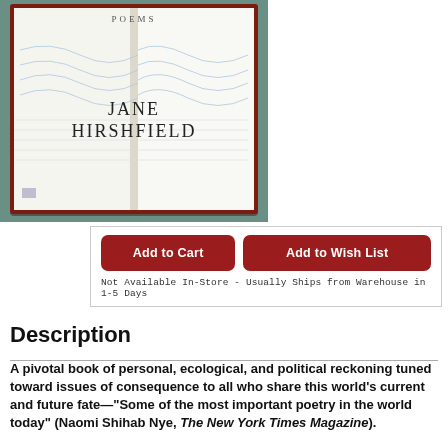[Figure (photo): Photo of an open book showing the name JANE HIRSHFIELD on the inside pages, with the word POEMS visible at the top. The book is placed on a teal/green surface. The pages show decorative wave lines in light blue.]
Add to Cart | Add to Wish List | Not Available In-Store - Usually Ships from Warehouse in 1-5 Days
Description
A pivotal book of personal, ecological, and political reckoning tuned toward issues of consequence to all who share this world's current and future fate—"Some of the most important poetry in the world today" (Naomi Shihab Nye, The New York Times Magazine).